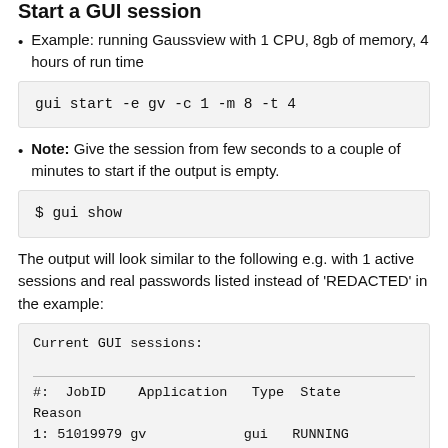Start a GUI session
Example: running Gaussview with 1 CPU, 8gb of memory, 4 hours of run time
gui start -e gv -c 1 -m 8 -t 4
Note: Give the session from few seconds to a couple of minutes to start if the output is empty.
$ gui show
The output will look similar to the following e.g. with 1 active sessions and real passwords listed instead of 'REDACTED' in the example:
Current GUI sessions:

#:  JobID   Application   Type  State Reason
1: 51019979 gv            gui   RUNNING